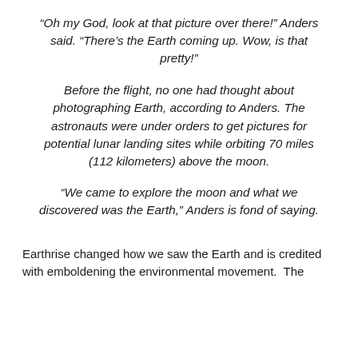“Oh my God, look at that picture over there!” Anders said. “There’s the Earth coming up. Wow, is that pretty!”
Before the flight, no one had thought about photographing Earth, according to Anders. The astronauts were under orders to get pictures for potential lunar landing sites while orbiting 70 miles (112 kilometers) above the moon.
“We came to explore the moon and what we discovered was the Earth,” Anders is fond of saying.
Earthrise changed how we saw the Earth and is credited with emboldening the environmental movement.  The